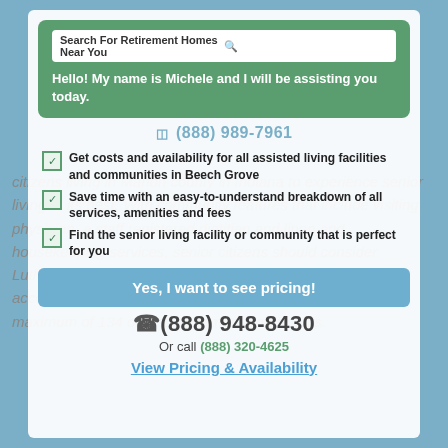[Figure (screenshot): Website screenshot showing a retirement home search overlay/popup with chat bubble, checklist, CTA button, and phone numbers over background body text about Lutherwoods retirement community.]
Search For Retirement Homes Near You
Hello! My name is Michele and I will be assisting you today.
(888) 989-7961
citizens living in Marion county in Indiana to experience senior living at its best. With community features that include visiting physician, a staff registered dietitian and linen and housekeeping services, senior citizens should consider Lutherwoods at their retirement community. It can accommodate senior citizens living in Marion county with a maximum of 134 or less retirement apartments.
Get costs and availability for all assisted living facilities and communities in Beech Grove
Save time with an easy-to-understand breakdown of all services, amenities and fees
Find the senior living facility or community that is perfect for you
Yes, I want to see pricing!
(888) 948-8430
Or call (888) 320-4625
View Pricing & Availability